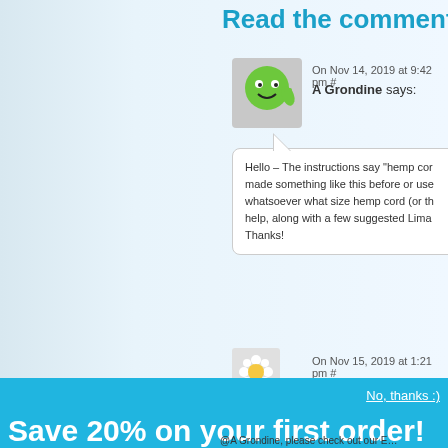Read the comments
On Nov 14, 2019 at 9:42 pm #
A Grondine says:
[Figure (illustration): Green cartoon character avatar giving thumbs up]
Hello – The instructions say “hemp cor… made something like this before or use… whatsoever what size hemp cord (or th… help, along with a few suggested Lima… Thanks!
On Nov 15, 2019 at 1:21 pm #
[Figure (illustration): Small flower/daisy avatar]
No, thanks :)
Save 20% on your first order!
Subscribe to our newsletter and get a 20% off coupon now, and 10% off in the future!
E-mail Address
Subscribe
@A Grondine, please check out our E…